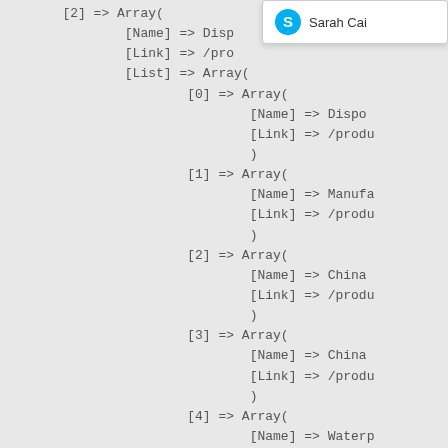[Figure (screenshot): Skype-like notification popup showing 'Sarah Cai' with a blue Skype icon in the top-right corner]
[2] => Array(
    [Name] => Disp
    [Link] => /pro
    [List] => Array(
        [0] => Array(
            [Name] => Dispo
            [Link] => /produ
            )
        [1] => Array(
            [Name] => Manufa
            [Link] => /produ
            )
        [2] => Array(
            [Name] => China
            [Link] => /produ
            )
        [3] => Array(
            [Name] => China
            [Link] => /produ
            )
        [4] => Array(
            [Name] => Waterp
            [Link] => /produ
            )